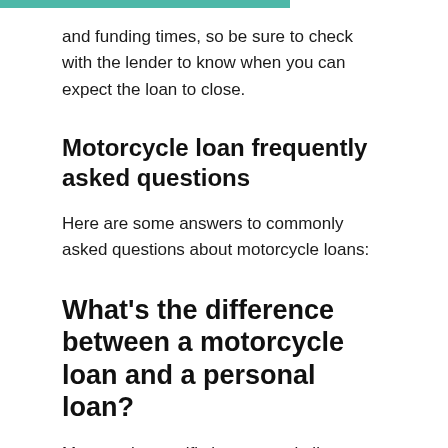and funding times, so be sure to check with the lender to know when you can expect the loan to close.
Motorcycle loan frequently asked questions
Here are some answers to commonly asked questions about motorcycle loans:
What's the difference between a motorcycle loan and a personal loan?
Motorcycle-specific loans are similar to car loans. They're secured by the vehicle you purchase — which